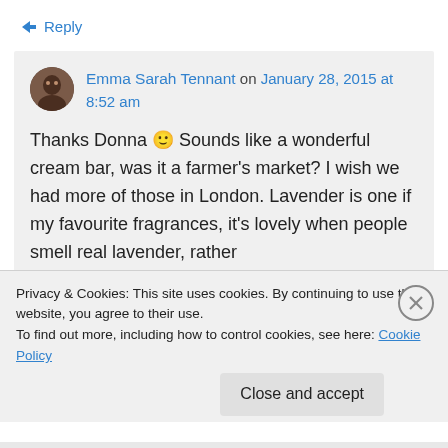↳ Reply
Emma Sarah Tennant on January 28, 2015 at 8:52 am
Thanks Donna 🙂 Sounds like a wonderful cream bar, was it a farmer's market? I wish we had more of those in London. Lavender is one if my favourite fragrances, it's lovely when people smell real lavender, rather
Privacy & Cookies: This site uses cookies. By continuing to use this website, you agree to their use.
To find out more, including how to control cookies, see here: Cookie Policy
Close and accept